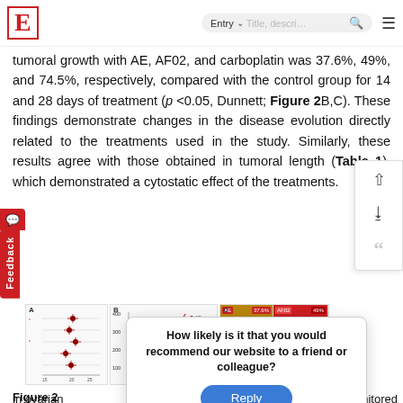E [logo] | Entry ▾ | Title, descri… [search] ≡
tumoral growth with AE, AF02, and carboplatin was 37.6%, 49%, and 74.5%, respectively, compared with the control group for 14 and 28 days of treatment (p <0.05, Dunnett; Figure 2B,C). These findings demonstrate changes in the disease evolution directly related to the treatments used in the study. Similarly, these results agree with those obtained in tumoral length (Table 1), which demonstrated a cytostatic effect of the treatments.
[Figure (line-chart): Line chart showing tumor volume (mm²) over time for AE, AF02, Carboplatin, and 1X PBS groups]
[Figure (photo): Figure 2C – Tumor photos with percentage labels 37.6% and 49%]
Figure 2
in ovarian ... monitored